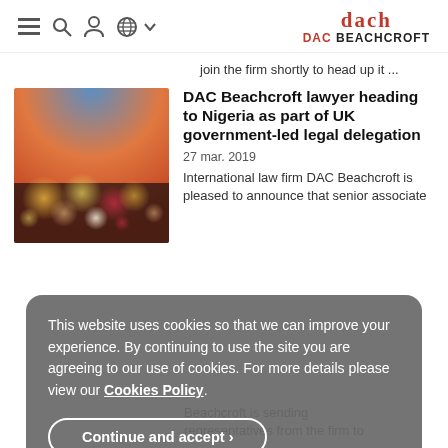DAC BEACHCROFT
join the firm shortly to head up it ...
[Figure (photo): Blurred bokeh photo with colorful lights on dark background, nighttime street scene]
DAC Beachcroft lawyer heading to Nigeria as part of UK government-led legal delegation
27 mar. 2019
International law firm DAC Beachcroft is pleased to announce that senior associate
This website uses cookies so that we can improve your experience. By continuing to use the site you are agreeing to our use of cookies. For more details please view our Cookies Policy.
Continue and accept ›
Beachcroft is sending representatives from the firm to